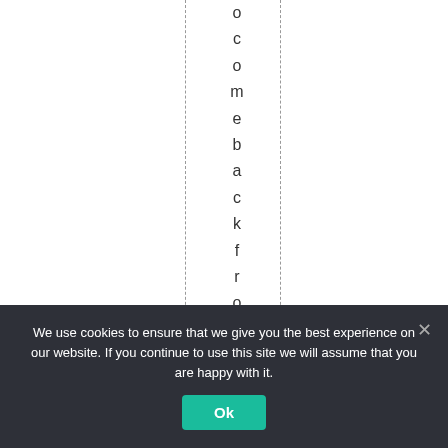ocomebackfromtheMo
We use cookies to ensure that we give you the best experience on our website. If you continue to use this site we will assume that you are happy with it.
Ok